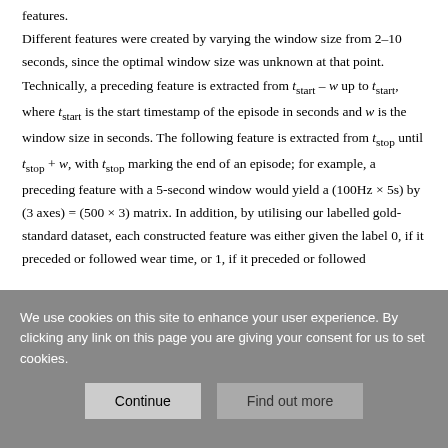features. Different features were created by varying the window size from 2–10 seconds, since the optimal window size was unknown at that point. Technically, a preceding feature is extracted from t_start – w up to t_start, where t_start is the start timestamp of the episode in seconds and w is the window size in seconds. The following feature is extracted from t_stop until t_stop + w, with t_stop marking the end of an episode; for example, a preceding feature with a 5-second window would yield a (100Hz × 5s) by (3 axes) = (500 × 3) matrix. In addition, by utilising our labelled gold-standard dataset, each constructed feature was either given the label 0, if it preceded or followed wear time, or 1, if it preceded or followed
We use cookies on this site to enhance your user experience. By clicking any link on this page you are giving your consent for us to set cookies.